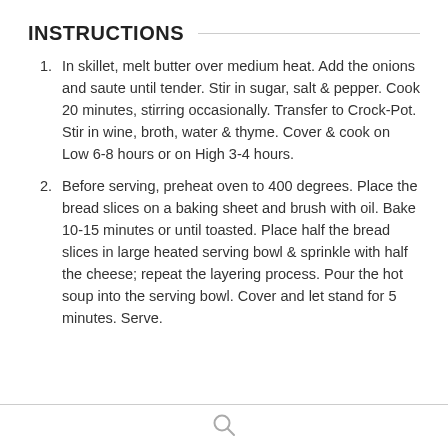INSTRUCTIONS
In skillet, melt butter over medium heat. Add the onions and saute until tender. Stir in sugar, salt & pepper. Cook 20 minutes, stirring occasionally. Transfer to Crock-Pot. Stir in wine, broth, water & thyme. Cover & cook on Low 6-8 hours or on High 3-4 hours.
Before serving, preheat oven to 400 degrees. Place the bread slices on a baking sheet and brush with oil. Bake 10-15 minutes or until toasted. Place half the bread slices in large heated serving bowl & sprinkle with half the cheese; repeat the layering process. Pour the hot soup into the serving bowl. Cover and let stand for 5 minutes. Serve.